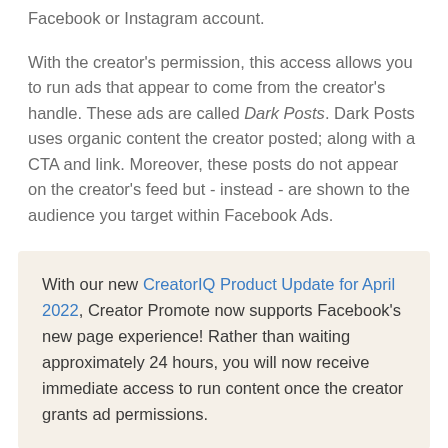Facebook or Instagram account.
With the creator's permission, this access allows you to run ads that appear to come from the creator's handle. These ads are called Dark Posts. Dark Posts uses organic content the creator posted; along with a CTA and link. Moreover, these posts do not appear on the creator's feed but - instead - are shown to the audience you target within Facebook Ads.
With our new CreatorIQ Product Update for April 2022, Creator Promote now supports Facebook's new page experience! Rather than waiting approximately 24 hours, you will now receive immediate access to run content once the creator grants ad permissions.